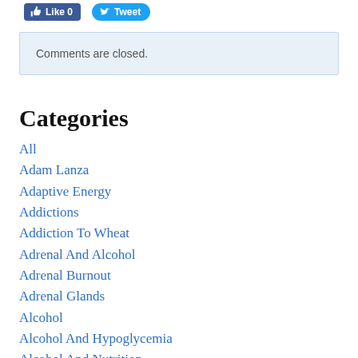[Figure (screenshot): Social media buttons: Facebook Like (0) and Twitter Tweet]
Comments are closed.
Categories
All
Adam Lanza
Adaptive Energy
Addictions
Addiction To Wheat
Adrenal And Alcohol
Adrenal Burnout
Adrenal Glands
Alcohol
Alcohol And Hypoglycemia
Alcohol And Nutrition
Alcoholic Anonymous
Alzheimer And Copper
Amino Acid